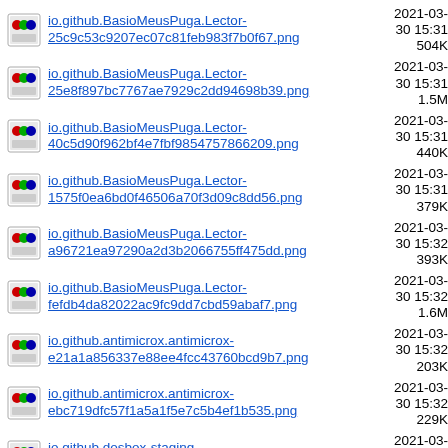io.github.BasioMeusPuga.Lector-25c9c53c9207ec07c81feb983f7b0f67.png  2021-03-30 15:31  504K
io.github.BasioMeusPuga.Lector-25e8f897bc7767ae7929c2dd94698b39.png  2021-03-30 15:31  1.5M
io.github.BasioMeusPuga.Lector-40c5d90f962bf4e7fbf9854757866209.png  2021-03-30 15:31  440K
io.github.BasioMeusPuga.Lector-1575f0ea6bd0f46506a70f3d09c8dd56.png  2021-03-30 15:31  379K
io.github.BasioMeusPuga.Lector-a96721ea97290a2d3b2066755ff475dd.png  2021-03-30 15:32  393K
io.github.BasioMeusPuga.Lector-fefdb4da82022ac9fc9dd7cbd59abaf7.png  2021-03-30 15:32  1.6M
io.github.antimicrox.antimicrox-e21a1a856337e88ee4fcc43760bcd9b7.png  2021-03-30 15:32  203K
io.github.antimicrox.antimicrox-ebc719dfc57f1a5a1f5e7c5b4ef1b535.png  2021-03-30 15:32  229K
io.github.dosbox-staging-54dff07f985324a4da8cb0feb6abd643.png  2021-03-30 15:32  857K
io.github.dosbox-staging-6237147d703b80e02c36aae3b2868e42.png  2021-03-30 15:32  1.5M
io.github.dosbox-staging-e9c4a9d8f00b8eae22b5ab27584d7d32.png  2021-03-30 15:32  264K
io.github.endless-sky.endless-sky...  2021-03-...